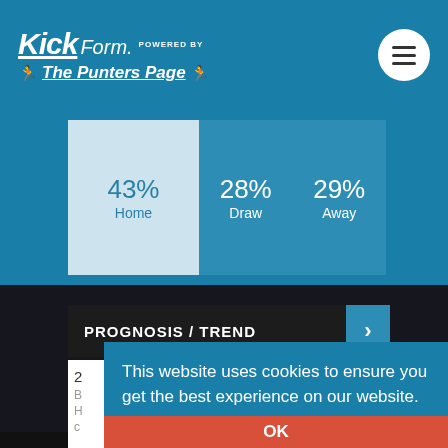KickForm. POWERED BY The Punters Page
| Home | Draw | Away |
| --- | --- | --- |
| 43% | 28% | 29% |
PROGNOSIS / TREND
This website uses cookies to ensure you get the best experience on our website. Learn more
OK